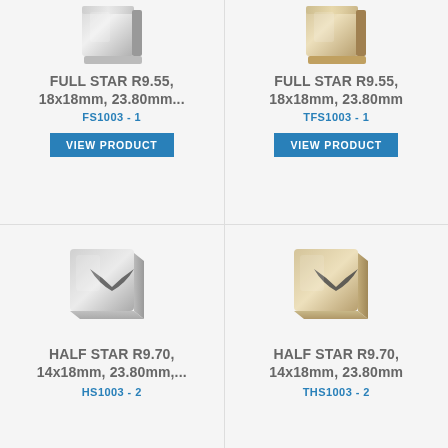[Figure (photo): Silver/chrome square metal piece, partially cropped at top]
FULL STAR R9.55, 18x18mm, 23.80mm...
FS1003-1
VIEW PRODUCT
[Figure (photo): Gold/champagne square metal piece, partially cropped at top]
FULL STAR R9.55, 18x18mm, 23.80mm
TFS1003-1
VIEW PRODUCT
[Figure (photo): Silver/chrome square metal half-star piece]
HALF STAR R9.70, 14x18mm, 23.80mm,...
HS1003-2
[Figure (photo): Gold/champagne square metal half-star piece]
HALF STAR R9.70, 14x18mm, 23.80mm
THS1003-2